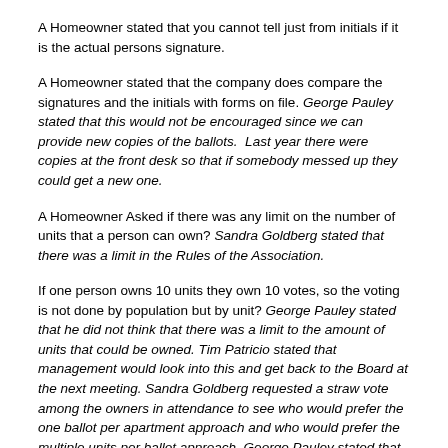A Homeowner stated that you cannot tell just from initials if it is the actual persons signature.
A Homeowner stated that the company does compare the signatures and the initials with forms on file. George Pauley stated that this would not be encouraged since we can provide new copies of the ballots. Last year there were copies at the front desk so that if somebody messed up they could get a new one.
A Homeowner Asked if there was any limit on the number of units that a person can own? Sandra Goldberg stated that there was a limit in the Rules of the Association.
If one person owns 10 units they own 10 votes, so the voting is not done by population but by unit? George Pauley stated that he did not think that there was a limit to the amount of units that could be owned. Tim Patricio stated that management would look into this and get back to the Board at the next meeting. Sandra Goldberg requested a straw vote among the owners in attendance to see who would prefer the one ballot per apartment approach and who would prefer the multiple units per ballot approach. George Pauley stated that the majority of people were in favor of the one ballot per unit approach. Is there a reason that some owners preferred the multiple unit to one